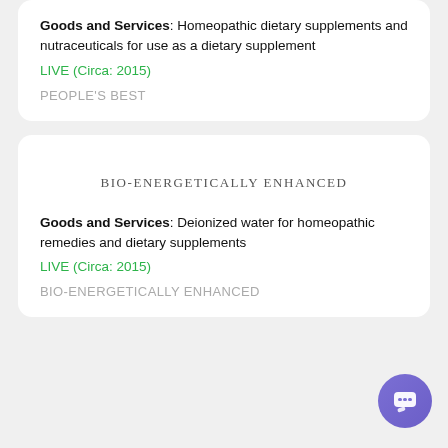Goods and Services: Homeopathic dietary supplements and nutraceuticals for use as a dietary supplement
LIVE (Circa: 2015)
PEOPLE'S BEST
BIO-ENERGETICALLY ENHANCED
Goods and Services: Deionized water for homeopathic remedies and dietary supplements
LIVE (Circa: 2015)
BIO-ENERGETICALLY ENHANCED